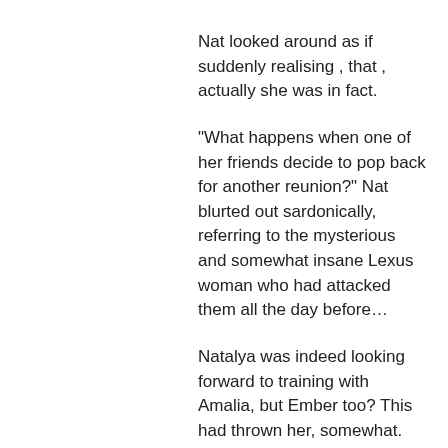Nat looked around as if suddenly realising , that , actually she was in fact.
"What happens when one of her friends decide to pop back for another reunion?" Nat blurted out sardonically, referring to the mysterious and somewhat insane Lexus woman who had attacked them all the day before…
Natalya was indeed looking forward to training with Amalia, but Ember too? This had thrown her, somewhat.
unbelievable!...